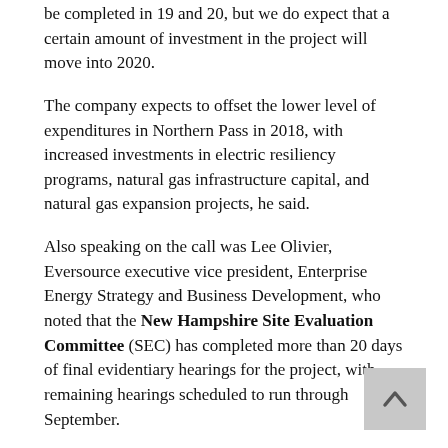be completed in 19 and 20, but we do expect that a certain amount of investment in the project will move into 2020.
The company expects to offset the lower level of expenditures in Northern Pass in 2018, with increased investments in electric resiliency programs, natural gas infrastructure capital, and natural gas expansion projects, he said.
Also speaking on the call was Lee Olivier, Eversource executive vice president, Enterprise Energy Strategy and Business Development, who noted that the New Hampshire Site Evaluation Committee (SEC) has completed more than 20 days of final evidentiary hearings for the project, with remaining hearings scheduled to run through September.
“We consider the New Hampshire SEC schedule to be supportive of the project receiving all of its approvals